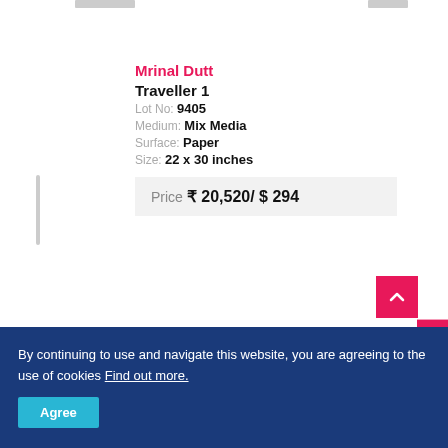Mrinal Dutt
Traveller 1
Lot No: 9405
Medium: Mix Media
Surface: Paper
Size: 22 x 30 inches
Price ₹ 20,520/ $ 294
Query
By continuing to use and navigate this website, you are agreeing to the use of cookies Find out more.
Agree